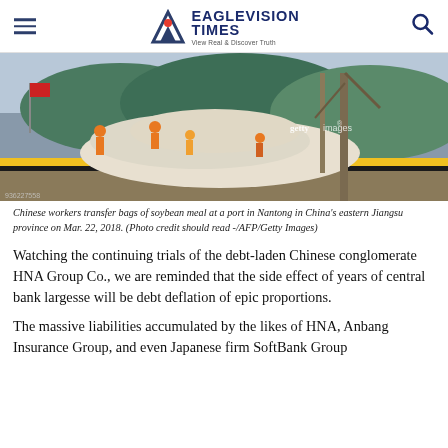EAGLEVISION TIMES — View Real & Discover Truth
[Figure (photo): Chinese workers transferring bags of soybean meal at a port with cranes, a red flag visible, and stacked white bags, at a port in Nantong, Jiangsu province, China. Getty Images watermark visible.]
Chinese workers transfer bags of soybean meal at a port in Nantong in China's eastern Jiangsu province on Mar. 22, 2018. (Photo credit should read -/AFP/Getty Images)
Watching the continuing trials of the debt-laden Chinese conglomerate HNA Group Co., we are reminded that the side effect of years of central bank largesse will be debt deflation of epic proportions.
The massive liabilities accumulated by the likes of HNA, Anbang Insurance Group, and even Japanese firm SoftBank Group Corp. will eventually need to be absorbed — the question is...